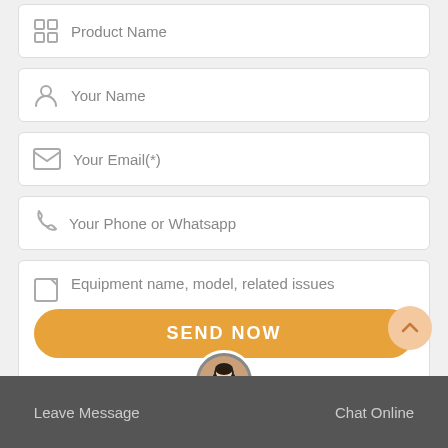Product Name
Your Name
Your Email(*)
Your Phone or Whatsapp
Equipment name, model, related issues
SEND NOW
Leave Message   Chat Online